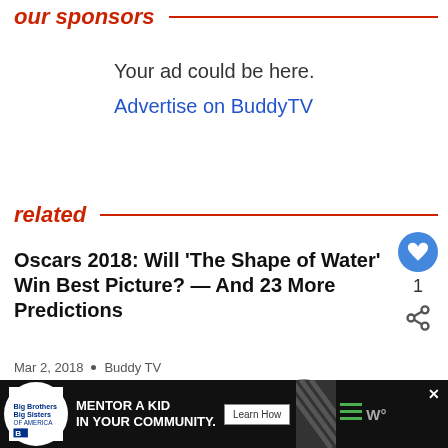our sponsors
Your ad could be here.
Advertise on BuddyTV
related
Oscars 2018: Will ‘The Shape of Water’ Win Best Picture? — And 23 More Predictions
Mar 2, 2018 • Buddy TV
[Figure (infographic): Bottom advertisement banner: Big Brothers Big Sisters logo, text MENTOR A KID IN YOUR COMMUNITY., Learn How button, diagonal stripes, hamburger menu icon, W logo]